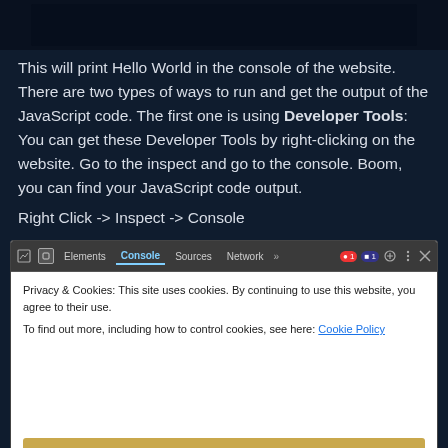[Figure (screenshot): Dark top bar area cropped screenshot]
This will print Hello World in the console of the website. There are two types of ways to run and get the output of the JavaScript code. The first one is using Developer Tools: You can get these Developer Tools by right-clicking on the website. Go to the inspect and go to the console. Boom, you can find your JavaScript code output.
Right Click -> Inspect -> Console
[Figure (screenshot): Browser developer tools screenshot showing the Console tab selected, with a cookie consent banner showing 'Privacy & Cookies: This site uses cookies. By continuing to use this website, you agree to their use. To find out more, including how to control cookies, see here: Cookie Policy' and a 'Close and accept' button]